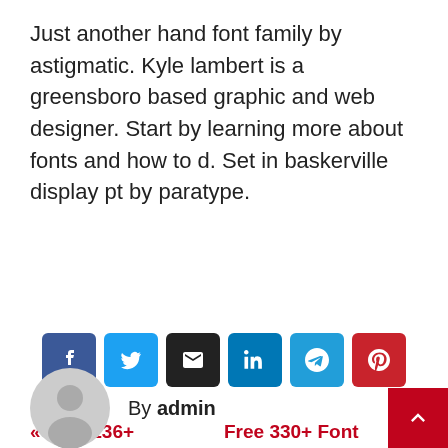Just another hand font family by astigmatic. Kyle lambert is a greensboro based graphic and web designer. Start by learning more about fonts and how to d. Set in baskerville display pt by paratype.
[Figure (infographic): Row of six social share buttons: Facebook (blue), Twitter (light blue), Email (dark/black), LinkedIn (blue), Telegram (blue), Pinterest (red)]
« Free 136+ Decorative Fonts – Victorian Display Fonts
Free 330+ Font Design – Free Futuristic Display Fonts »
By admin